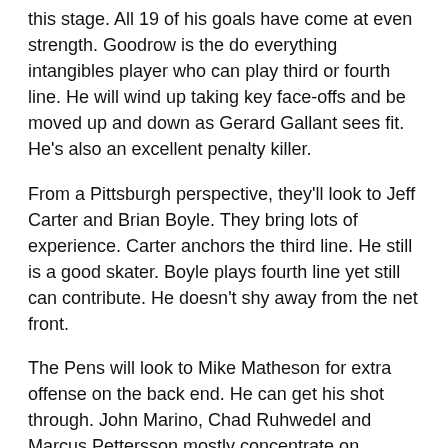this stage. All 19 of his goals have come at even strength. Goodrow is the do everything intangibles player who can play third or fourth line. He will wind up taking key face-offs and be moved up and down as Gerard Gallant sees fit. He's also an excellent penalty killer.
From a Pittsburgh perspective, they'll look to Jeff Carter and Brian Boyle. They bring lots of experience. Carter anchors the third line. He still is a good skater. Boyle plays fourth line yet still can contribute. He doesn't shy away from the net front.
The Pens will look to Mike Matheson for extra offense on the back end. He can get his shot through. John Marino, Chad Ruhwedel and Marcus Pettersson mostly concentrate on defense.
If you want to make a case for the Pens, aside from the